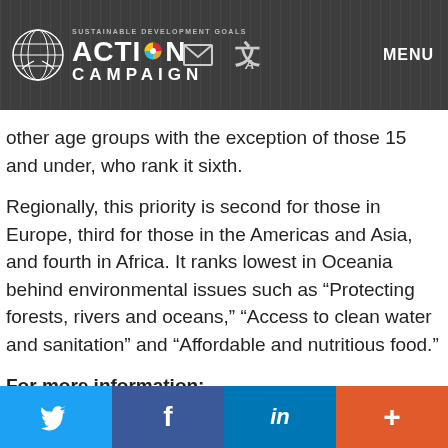SUSTAINABLE DEVELOPMENT GOALS ACTION CAMPAIGN | MENU
other age groups with the exception of those 15 and under, who rank it sixth.
Regionally, this priority is second for those in Europe, third for those in the Americas and Asia, and fourth in Africa. It ranks lowest in Oceania behind environmental issues such as “Protecting forests, rivers and oceans,” “Access to clean water and sanitation” and “Affordable and nutritious food.”
For more information:
Read the DSG’s closing remarks on “Ensuring Stable and Peaceful Societies”